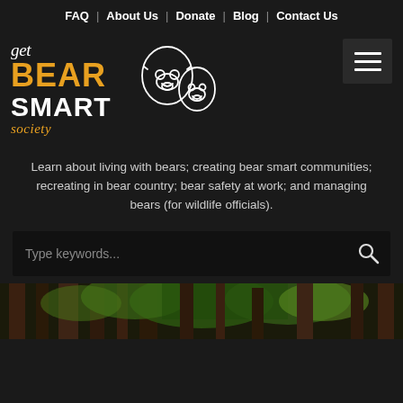FAQ | About Us | Donate | Blog | Contact Us
[Figure (logo): Get Bear Smart Society logo with bear illustration and text: get BEAR SMART society]
Learn about living with bears; creating bear smart communities; recreating in bear country; bear safety at work; and managing bears (for wildlife officials).
[Figure (screenshot): Search bar with placeholder text 'Type keywords...' and search icon on dark background]
[Figure (photo): Forest trees photograph strip at bottom of page]